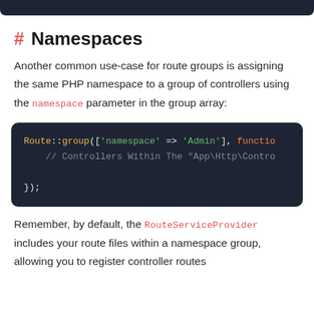# Namespaces
Another common use-case for route groups is assigning the same PHP namespace to a group of controllers using the namespace parameter in the group array:
[Figure (screenshot): Code block showing: Route::group(['namespace' => 'Admin'], functio
    // Controllers Within The "App\Http\Contro
});]
Remember, by default, the RouteServiceProvider includes your route files within a namespace group, allowing you to register controller routes